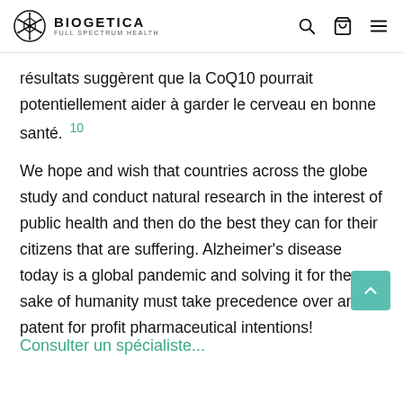BIOGETICA FULL SPECTRUM HEALTH
résultats suggèrent que la CoQ10 pourrait potentiellement aider à garder le cerveau en bonne santé. 10
We hope and wish that countries across the globe study and conduct natural research in the interest of public health and then do the best they can for their citizens that are suffering. Alzheimer's disease today is a global pandemic and solving it for the sake of humanity must take precedence over any patent for profit pharmaceutical intentions!